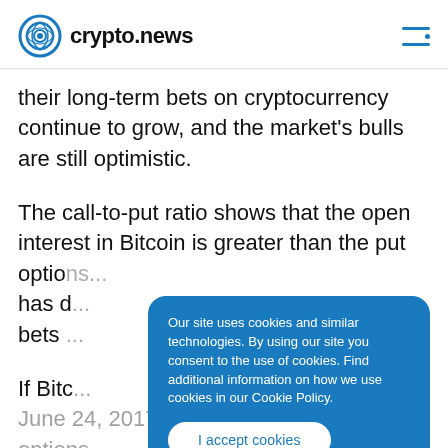crypto.news
their long-term bets on cryptocurrency continue to grow, and the market's bulls are still optimistic.
The call-to-put ratio shows that the open interest in Bitcoin is greater than the put optio... has d... bets...
Our site uses cookies and similar technologies. By using our site you consent to the use of cookies. Find additional information on how we use cookies in our Cookie Policy.
I accept cookies
If Bitc... June 24, 2017, only 2% of its name options